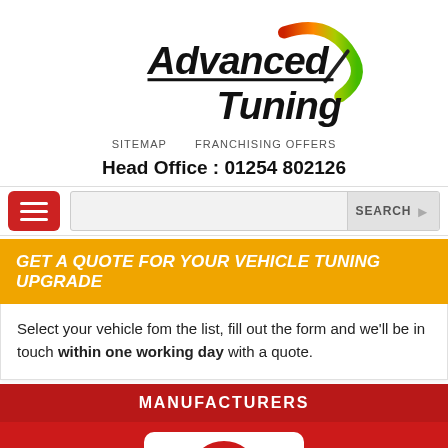[Figure (logo): Advanced Tuning logo with stylized gauge/speedometer arc in red, yellow, green colors and bold italic text]
SITEMAP   FRANCHISING OFFERS
Head Office : 01254 802126
[Figure (screenshot): Red hamburger menu button and search bar with SEARCH label]
GET A QUOTE FOR YOUR VEHICLE TUNING UPGRADE
Select your vehicle fom the list, fill out the form and we'll be in touch within one working day with a quote.
MANUFACTURERS
[Figure (logo): Manufacturer logo card showing partial red circular logo on white rounded card, on red background]